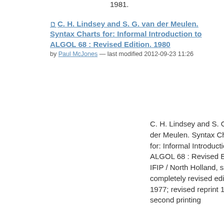1981.
C. H. Lindsey and S. G. van der Meulen. Syntax Charts for: Informal Introduction to ALGOL 68 : Revised Edition. 1980 by Paul McJones — last modified 2012-09-23 11:26
C. H. Lindsey and S. G. van der Meulen. Syntax Charts for: Informal Introduction to ALGOL 68 : Revised Edition. IFIP / North Holland, second completely revised edition 1977; revised reprint 1980, second printing